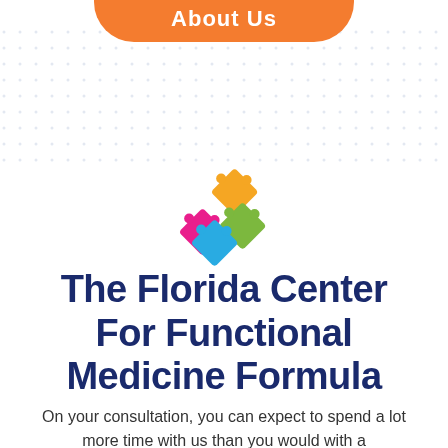About Us
[Figure (logo): Colorful four-piece jigsaw puzzle logo with pink, orange/yellow, green, and blue pieces arranged in a diamond shape]
The Florida Center For Functional Medicine Formula
On your consultation, you can expect to spend a lot more time with us than you would with a